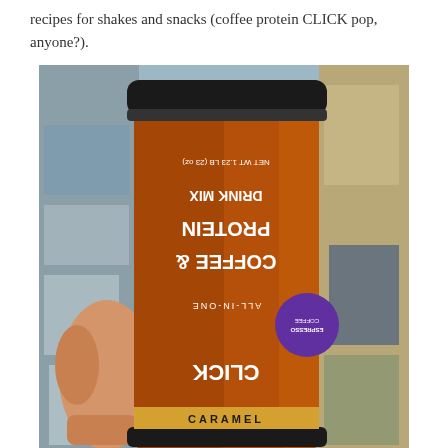recipes for shakes and snacks (coffee protein CLICK pop, anyone?).
[Figure (photo): A hand holding a canister of CLICK Coffee & Protein Drink Mix in Caramel Espresso Coffee flavor. The label is shown upside-down/mirrored, with text reading DRINK MIX, PROTEIN, COFFEE &, ALL-IN-ONE, CLICK, CARAMEL visible. The canister has a brown/copper color with a dark lid. Background shows a cluttered room.]